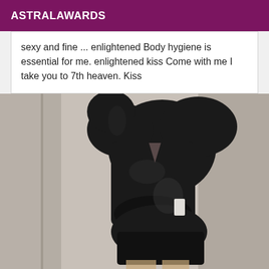ASTRALAWARDS
sexy and fine ... enlightened Body hygiene is essential for me. enlightened kiss Come with me I take you to 7th heaven. Kiss
[Figure (photo): Person wearing a black leather outfit posing in front of a mirror, photo cropped at torso level]